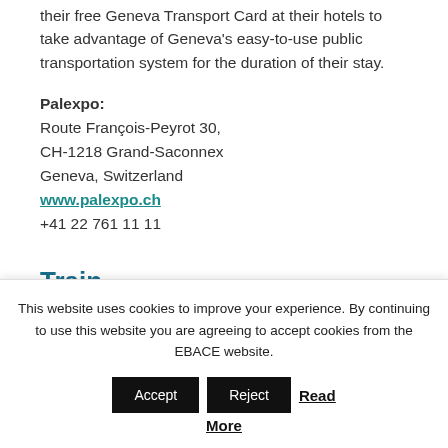their free Geneva Transport Card at their hotels to take advantage of Geneva's easy-to-use public transportation system for the duration of their stay.
Palexpo:
Route François-Peyrot 30,
CH-1218 Grand-Saconnex
Geneva, Switzerland
www.palexpo.ch
+41 22 761 11 11
Train
By train to Geneva-Saconnex...
This website uses cookies to improve your experience. By continuing to use this website you are agreeing to accept cookies from the EBACE website. Accept Reject Read More